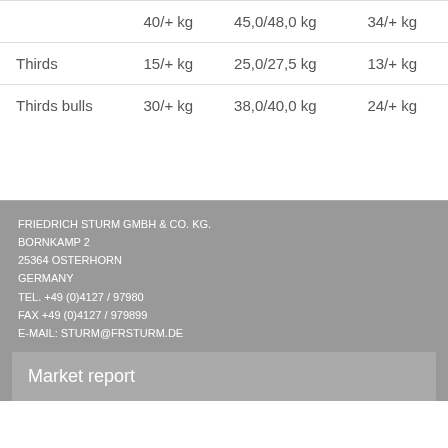|  | 40/+ kg | 45,0/48,0 kg | 34/+ kg |
| --- | --- | --- | --- |
| Thirds | 15/+ kg | 25,0/27,5 kg | 13/+ kg |
| Thirds bulls | 30/+ kg | 38,0/40,0 kg | 24/+ kg |
FRIEDRICH STURM GMBH & CO. KG.
BORNKAMP 2
25364 OSTERHORN
GERMANY
TEL. +49 (0)4127 / 97980
FAX +49 (0)4127 / 979899
E-MAIL: STURM@FRSTURM.DE
Market report